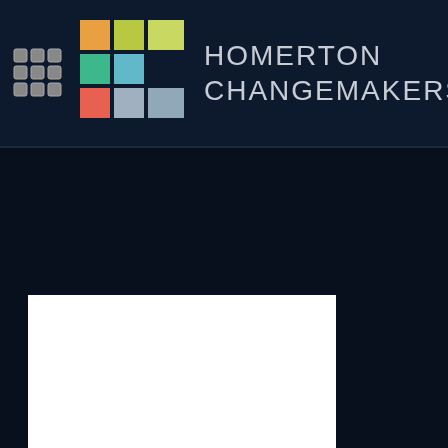[Figure (logo): Homerton Changemakers logo with colorful H-C tile mosaic graphic and grid icon on dark navy header background. Text reads HOMERTON CHANGEMAKERS.]
[Figure (photo): White rectangular block against dark near-black background, lower left of page.]